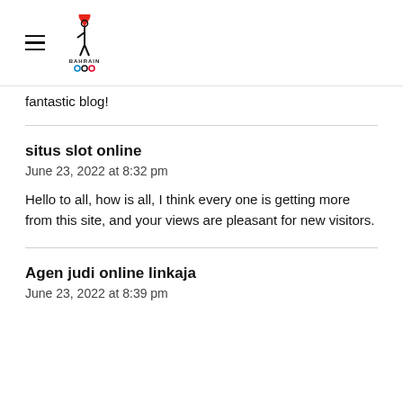[Bahrain Olympic Committee logo with hamburger menu]
fantastic blog!
situs slot online
June 23, 2022 at 8:32 pm
Hello to all, how is all, I think every one is getting more from this site, and your views are pleasant for new visitors.
Agen judi online linkaja
June 23, 2022 at 8:39 pm